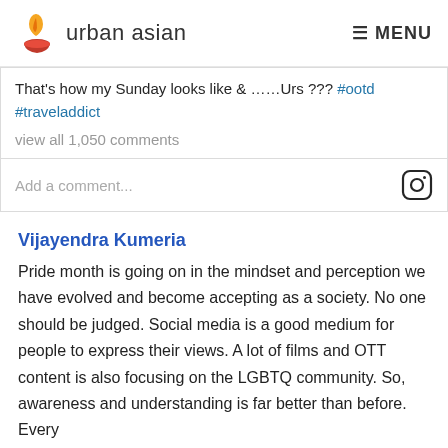urban asian   MENU
That's how my Sunday looks like & ……Urs ??? #ootd #traveladdict
view all 1,050 comments
Add a comment...
Vijayendra Kumeria
Pride month is going on in the mindset and perception we have evolved and become accepting as a society. No one should be judged. Social media is a good medium for people to express their views. A lot of films and OTT content is also focusing on the LGBTQ community. So, awareness and understanding is far better than before. Every